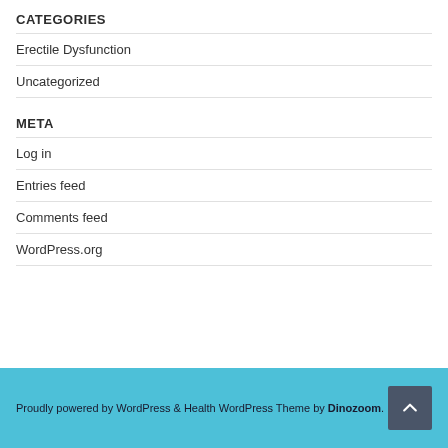CATEGORIES
Erectile Dysfunction
Uncategorized
META
Log in
Entries feed
Comments feed
WordPress.org
Proudly powered by WordPress & Health WordPress Theme by Dinozoom.